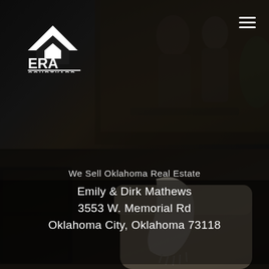[Figure (photo): Real estate agency website screenshot showing ERA Courtyard logo in upper left, hamburger menu in upper right, dark overlay with people visible in background, and interior room scene with armchair and throw blanket in lower half]
We Sell Oklahoma Real Estate
Emily & Dirk Mathews
3553 W. Memorial Rd
Oklahoma City, Oklahoma 73118